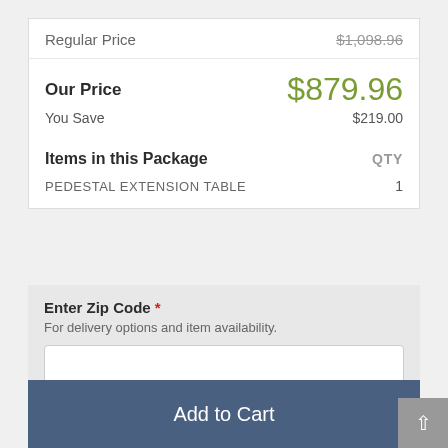|  |  |
| --- | --- |
| Regular Price | $1,098.96 |
| Our Price | $879.96 |
| You Save | $219.00 |
| Items in this Package | QTY |
| PEDESTAL EXTENSION TABLE | 1 |
Enter Zip Code *
For delivery options and item availability.
- 1 +
Add to Cart